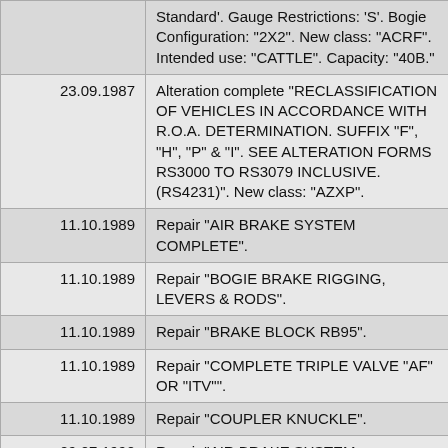| Date | Description |
| --- | --- |
|  | Standard'. Gauge Restrictions: 'S'. Bogie Configuration: "2X2". New class: "ACRF". Intended use: "CATTLE". Capacity: "40B." |
| 23.09.1987 | Alteration complete "RECLASSIFICATION OF VEHICLES IN ACCORDANCE WITH R.O.A. DETERMINATION. SUFFIX "F", "H", "P" & "I". SEE ALTERATION FORMS RS3000 TO RS3079 INCLUSIVE. (RS4231)". New class: "AZXP". |
| 11.10.1989 | Repair "AIR BRAKE SYSTEM COMPLETE". |
| 11.10.1989 | Repair "BOGIE BRAKE RIGGING, LEVERS & RODS". |
| 11.10.1989 | Repair "BRAKE BLOCK RB95". |
| 11.10.1989 | Repair "COMPLETE TRIPLE VALVE "AF" OR "ITV"". |
| 11.10.1989 | Repair "COUPLER KNUCKLE". |
| 09.07.1990 | Repair "AIR BRAKE SYSTEM |